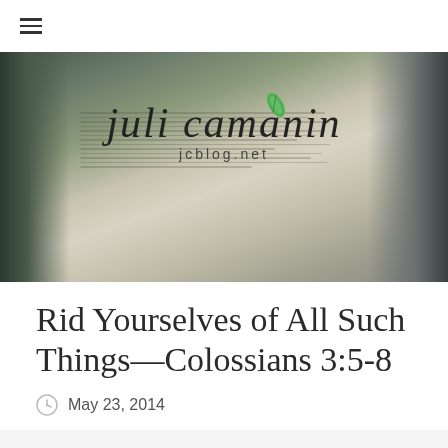≡ (navigation menu)
[Figure (photo): Blog header showing handwritten-style logo 'juli camanin' with green leaf accent and 'jcblog.net' subtitle, overlaid on a photo of an open Bible with readable text including Colossians passages]
Rid Yourselves of All Such Things—Colossians 3:5-8
May 23, 2014